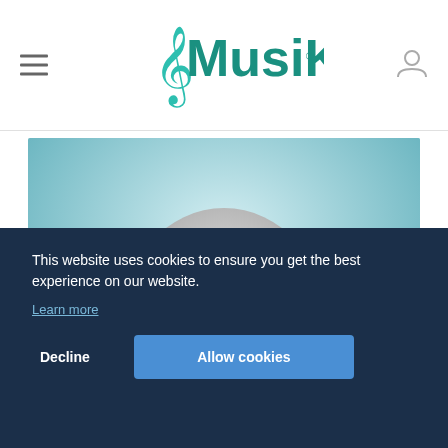[Figure (logo): MusiKey logo with treble clef and teal/dark teal text]
[Figure (photo): Elderly person with silver/white hair photographed from behind against a teal/light blue background]
This website uses cookies to ensure you get the best experience on our website.
Learn more
Decline
Allow cookies